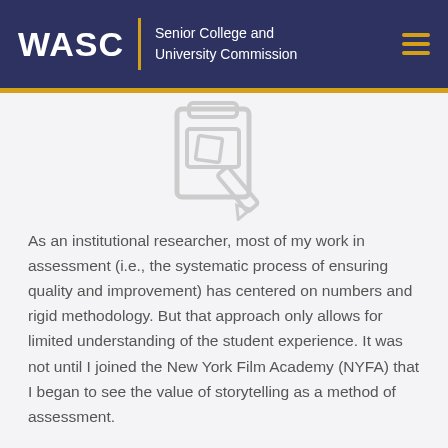WASC | Senior College and University Commission
[Figure (illustration): A light gray icon depicting a notepad/clipboard with a pencil, suggesting writing or editing.]
As an institutional researcher, most of my work in assessment (i.e., the systematic process of ensuring quality and improvement) has centered on numbers and rigid methodology. But that approach only allows for limited understanding of the student experience. It was not until I joined the New York Film Academy (NYFA) that I began to see the value of storytelling as a method of assessment.
A powerful story is one generated by an author with a strong sense of purpose, building characters